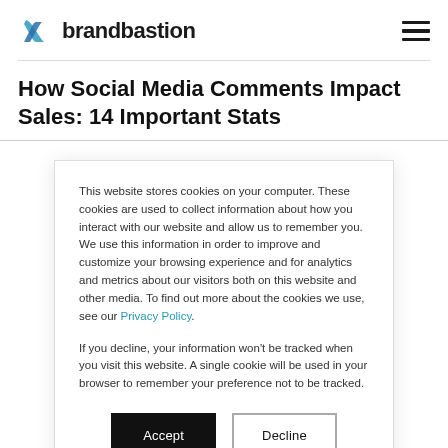brandbastion
How Social Media Comments Impact Sales: 14 Important Stats
This website stores cookies on your computer. These cookies are used to collect information about how you interact with our website and allow us to remember you. We use this information in order to improve and customize your browsing experience and for analytics and metrics about our visitors both on this website and other media. To find out more about the cookies we use, see our Privacy Policy.
If you decline, your information won't be tracked when you visit this website. A single cookie will be used in your browser to remember your preference not to be tracked.